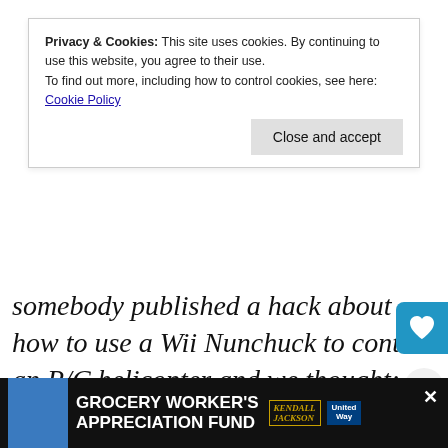Privacy & Cookies: This site uses cookies. By continuing to use this website, you agree to their use.
To find out more, including how to control cookies, see here: Cookie Policy
Close and accept
somebody published a hack about how to use a Wii Nunchuck to control an R/C helicopter and we thought: Whoa, that's really pretty cool. And we looked and sure enough they weren't just wiring to the potentiometers in the controller, they were using the output signals and there was a bunch of software published that showed
[Figure (infographic): Advertisement bar at bottom: Grocery Worker's Appreciation Fund with Kendall Jackson and United Way logos, person image on left side]
[Figure (infographic): Blue rounded icon with heart symbol on right side, and share icon below it]